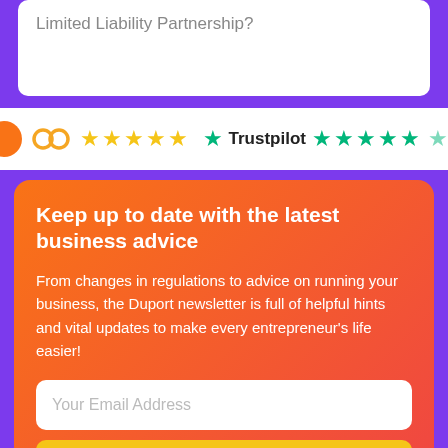Limited Liability Partnership?
[Figure (other): Rating badges bar: yellow stars rating on left, Trustpilot green stars on right]
Keep up to date with the latest business advice
From changes in regulations to advice on running your business, the Duport newsletter is full of helpful hints and vital updates to make every entrepreneur's life easier!
Your Email Address
SUBSCRIBE NOW